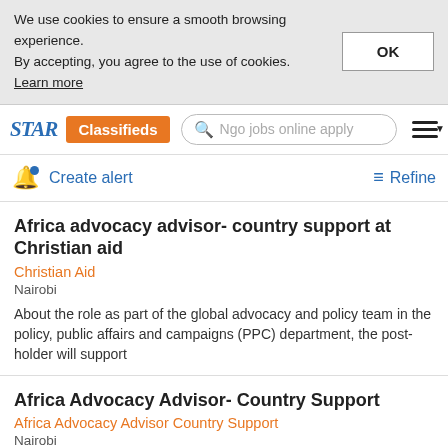We use cookies to ensure a smooth browsing experience. By accepting, you agree to the use of cookies. Learn more
STAR Classifieds | Search: Ngo jobs online apply
Create alert | Refine
Africa advocacy advisor- country support at Christian aid
Christian Aid
Nairobi
About the role as part of the global advocacy and policy team in the policy, public affairs and campaigns (PPC) department, the post-holder will support
Africa Advocacy Advisor- Country Support
Africa Advocacy Advisor Country Support
Nairobi
Recruit candidates with Ease. 100% recruitment control with Employer Dashboard.We have the largest Job seeker visits by alexa rankings. Resubmit
Africa Advocacy Advisor